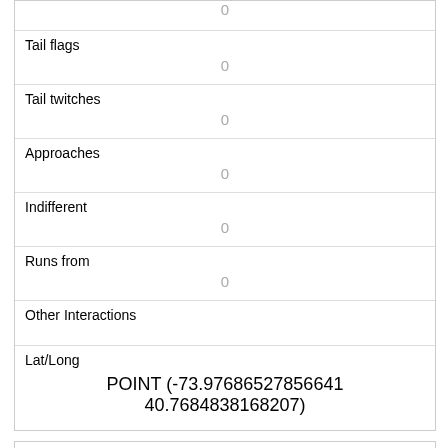| Tail flags | 0 |
| Tail twitches | 0 |
| Approaches | 0 |
| Indifferent | 0 |
| Runs from | 0 |
| Other Interactions |  |
| Lat/Long | POINT (-73.976865278566641 40.7684838168207) |
| Link | 141 |
| rowid | 141 |
| longitude |  |